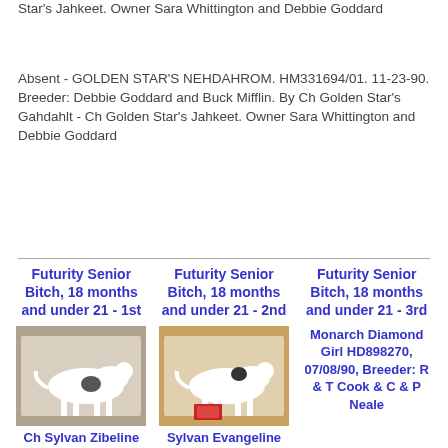Star's Jahkeet. Owner Sara Whittington and Debbie Goddard
Absent - GOLDEN STAR'S NEHDAHROM. HM331694/01. 11-23-90. Breeder: Debbie Goddard and Buck Mifflin. By Ch Golden Star's Gahdahlt - Ch Golden Star's Jahkeet. Owner Sara Whittington and Debbie Goddard
Futurity Senior Bitch, 18 months and under 21 - 1st
[Figure (photo): Dog show photo of Ch Sylvan Zibeline, a white and black whippet standing in show pose]
Ch Sylvan Zibeline
Futurity Senior Bitch, 18 months and under 21 - 2nd
[Figure (photo): Dog show photo of Sylvan Evangeline, a white whippet standing in show pose]
Sylvan Evangeline
Futurity Senior Bitch, 18 months and under 21 - 3rd
Monarch Diamond Girl HD898270, 07/08/90, Breeder: R & T Cook & C & P Neale